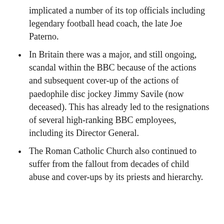implicated a number of its top officials including legendary football head coach, the late Joe Paterno.
In Britain there was a major, and still ongoing, scandal within the BBC because of the actions and subsequent cover-up of the actions of paedophile disc jockey Jimmy Savile (now deceased). This has already led to the resignations of several high-ranking BBC employees, including its Director General.
The Roman Catholic Church also continued to suffer from the fallout from decades of child abuse and cover-ups by its priests and hierarchy.